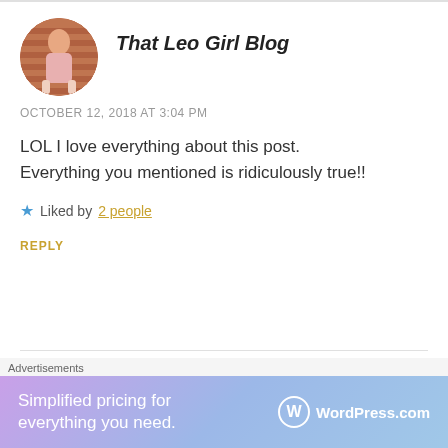[Figure (photo): Circular avatar photo of a woman in a pink dress standing against a brick wall]
That Leo Girl Blog
OCTOBER 12, 2018 AT 3:04 PM
LOL I love everything about this post. Everything you mentioned is ridiculously true!!
Liked by 2 people
REPLY
[Figure (logo): Green decorative icon/logo for sharonchvv]
sharonchvv
Advertisements
[Figure (screenshot): WordPress.com advertisement banner: Simplified pricing for everything you need.]